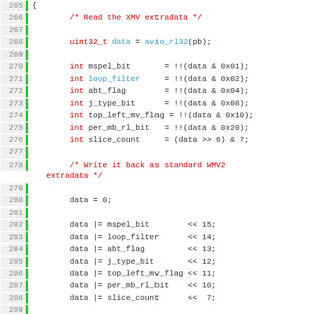[Figure (screenshot): Source code listing in C showing lines 265-297 of a multimedia demuxer, with syntax highlighting. Line numbers in gray on left with green border. Keywords in red, identifiers in blue/teal, normal code in dark/black.]